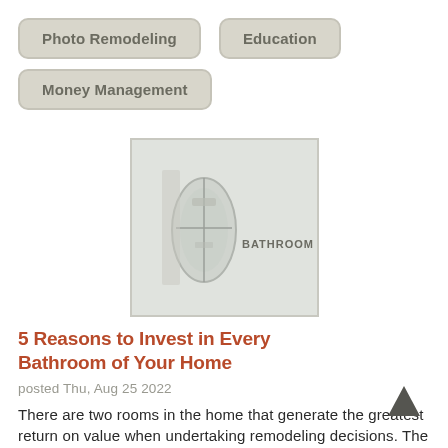Photo Remodeling
Education
Money Management
[Figure (photo): Bathroom image with 'BATHROOM' text label, showing a bathroom interior schematic or photo]
5 Reasons to Invest in Every Bathroom of Your Home
posted Thu, Aug 25 2022
There are two rooms in the home that generate the greatest return on value when undertaking remodeling decisions. The ... read more